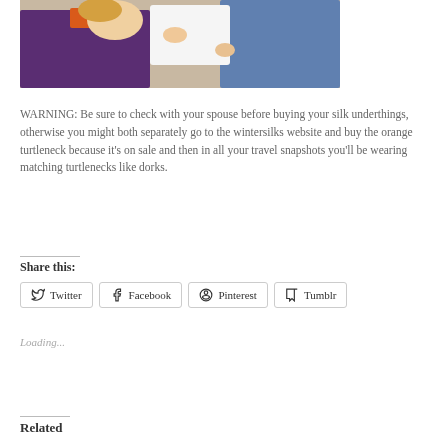[Figure (photo): A photo showing two people, one in a purple outfit with an orange turtleneck and another in a blue outfit, against a light background.]
WARNING: Be sure to check with your spouse before buying your silk underthings, otherwise you might both separately go to the wintersilks website and buy the orange turtleneck because it's on sale and then in all your travel snapshots you'll be wearing matching turtlenecks like dorks.
Share this:
Twitter Facebook Pinterest Tumblr
Loading...
Related